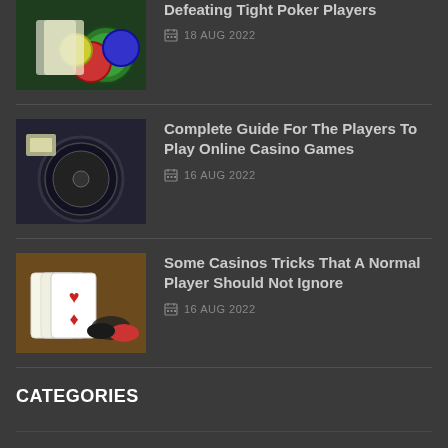[Figure (photo): Partial view of poker chips and players at a poker table]
Defeating Tight Poker Players
18 AUG 2022
[Figure (photo): Roulette wheel and casino chips on a table]
Complete Guide For The Players To Play Online Casino Games
16 AUG 2022
[Figure (photo): Playing cards and poker chips on a wooden table]
Some Casinos Tricks That A Normal Player Should Not Ignore
16 AUG 2022
CATEGORIES
Betting
Casino